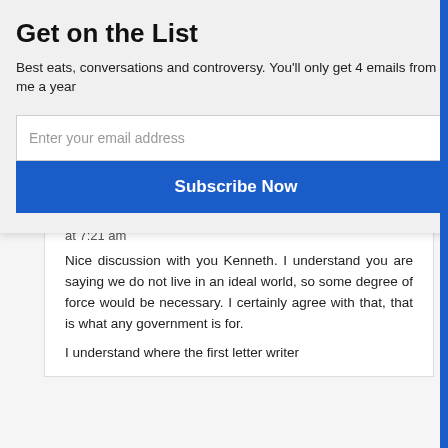Get on the List
Best eats, conversations and controversy. You'll only get 4 emails from me a year
Enter your email address
Subscribe Now
at 7:21 am
Nice discussion with you Kenneth. I understand you are saying we do not live in an ideal world, so some degree of force would be necessary. I certainly agree with that, that is what any government is for.
I understand where the first letter writer